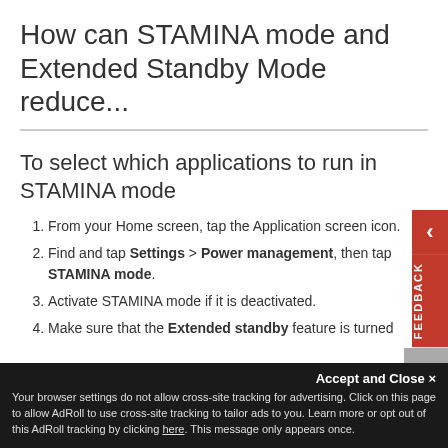How can STAMINA mode and Extended Standby Mode reduce...
To select which applications to run in STAMINA mode
From your Home screen, tap the Application screen icon.
Find and tap Settings > Power management, then tap STAMINA mode.
Activate STAMINA mode if it is deactivated.
Make sure that the Extended standby feature is turned
Accept and Close ×
Your browser settings do not allow cross-site tracking for advertising. Click on this page to allow AdRoll to use cross-site tracking to tailor ads to you. Learn more or opt out of this AdRoll tracking by clicking here. This message only appears once.